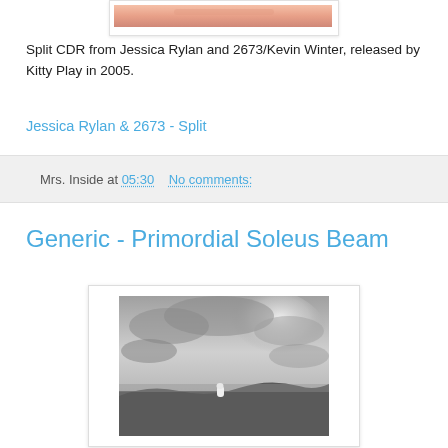[Figure (photo): Partial top edge of a close-up photo of skin/face, cropped at top of page]
Split CDR from Jessica Rylan and 2673/Kevin Winter, released by Kitty Play in 2005.
Jessica Rylan & 2673 - Split
Mrs. Inside at 05:30    No comments:
Generic - Primordial Soleus Beam
[Figure (photo): Black and white landscape photograph showing a vast open plain or desert under a dramatic cloudy sky, with a small white figure or object visible in the middle distance.]